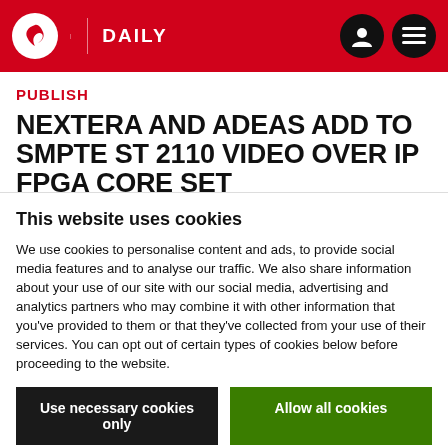DAILY
PUBLISH
NEXTERA AND ADEAS ADD TO SMPTE ST 2110 VIDEO OVER IP FPGA CORE SET
By: Jo Ruddock | 13 January 2021
This website uses cookies
We use cookies to personalise content and ads, to provide social media features and to analyse our traffic. We also share information about your use of our site with our social media, advertising and analytics partners who may combine it with other information that you've provided to them or that they've collected from your use of their services. You can opt out of certain types of cookies below before proceeding to the website.
Use necessary cookies only
Allow all cookies
Show details